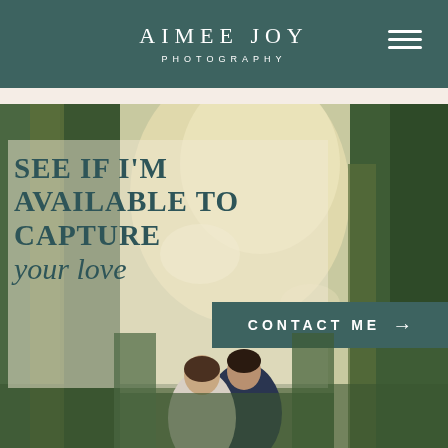AIMEE JOY PHOTOGRAPHY
[Figure (photo): Wedding photography website screenshot. Header with teal background showing 'AIMEE JOY PHOTOGRAPHY' logo and hamburger menu. Below, a lush green garden/forest background photo overlaid with a translucent cream box containing the text 'SEE IF I’M AVAILABLE TO CAPTURE your love' in serif and script fonts in dark teal. A teal 'CONTACT ME →' button. At the bottom, a couple (bride and groom) are partially visible.]